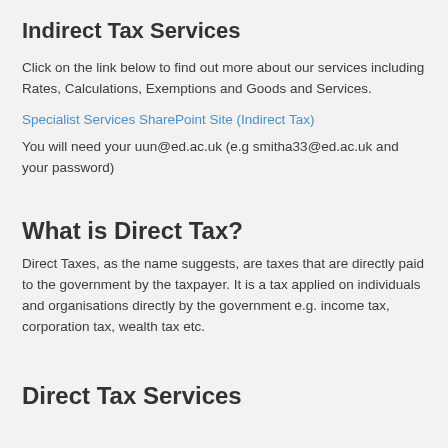Indirect Tax Services
Click on the link below to find out more about our services including Rates, Calculations, Exemptions and Goods and Services.
Specialist Services SharePoint Site (Indirect Tax)
You will need your uun@ed.ac.uk (e.g smitha33@ed.ac.uk and your password)
What is Direct Tax?
Direct Taxes, as the name suggests, are taxes that are directly paid to the government by the taxpayer. It is a tax applied on individuals and organisations directly by the government e.g. income tax, corporation tax, wealth tax etc.
Direct Tax Services